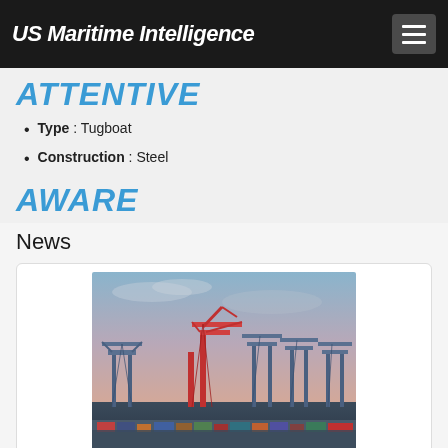US Maritime Intelligence
ATTENTIVE
Type : Tugboat
Construction : Steel
AWARE
News
[Figure (photo): Port with container cranes and red crane visible against a pink/blue dusk sky]